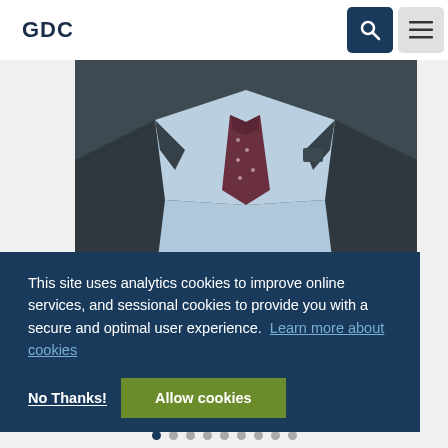GDC
[Figure (photo): Close-up photo of a man in a dark suit with a light blue shirt and patterned tie]
This site uses analytics cookies to improve online services, and sessional cookies to provide you with a secure and optimal user experience.  Learn more about cookies
No Thanks!
Allow cookies